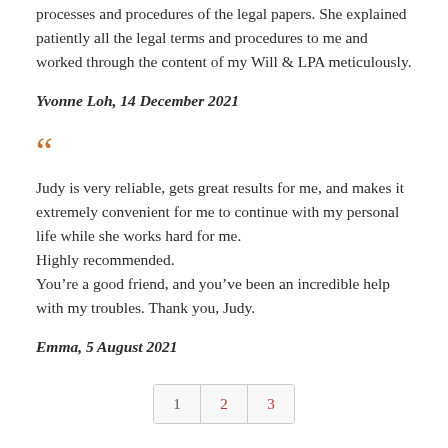processes and procedures of the legal papers. She explained patiently all the legal terms and procedures to me and worked through the content of my Will & LPA meticulously.
Yvonne Loh, 14 December 2021
“
Judy is very reliable, gets great results for me, and makes it extremely convenient for me to continue with my personal life while she works hard for me.
Highly recommended.
You’re a good friend, and you’ve been an incredible help with my troubles. Thank you, Judy.
Emma, 5 August 2021
1  2  3